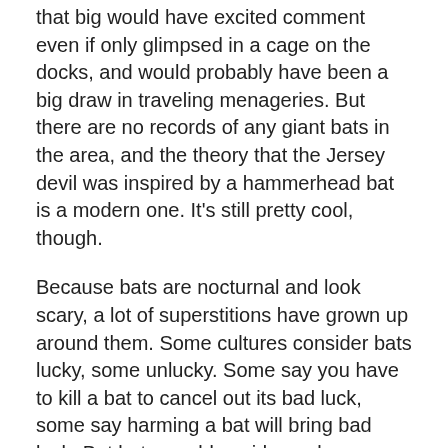that big would have excited comment even if only glimpsed in a cage on the docks, and would probably have been a big draw in traveling menageries. But there are no records of any giant bats in the area, and the theory that the Jersey devil was inspired by a hammerhead bat is a modern one. It's still pretty cool, though.
Because bats are nocturnal and look scary, a lot of superstitions have grown up around them. Some cultures consider bats lucky, some unlucky. Some say you have to kill a bat to cancel out its bad luck, some say harming a bat will bring bad luck. But bats would avoid people completely if they could, and you don't have anything to fear from them, not even bad luck.
I mean, except for the kind that can turn into actual vampires. Those are scary. Fortunately they only exist in horror movies.